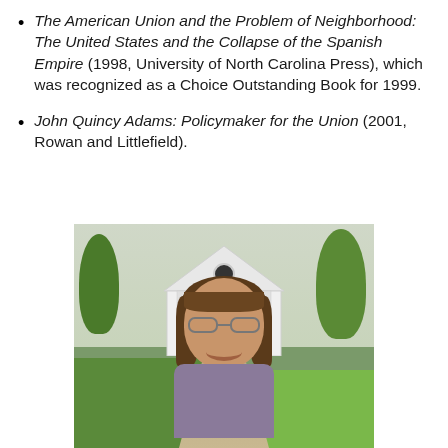The American Union and the Problem of Neighborhood: The United States and the Collapse of the Spanish Empire (1998, University of North Carolina Press), which was recognized as a Choice Outstanding Book for 1999.
John Quincy Adams: Policymaker for the Union (2001, Rowan and Littlefield).
[Figure (photo): A smiling woman with shoulder-length brown hair and glasses, wearing a purple jacket, photographed outdoors in front of a white colonial-style building with columns, surrounded by green trees and lawn.]